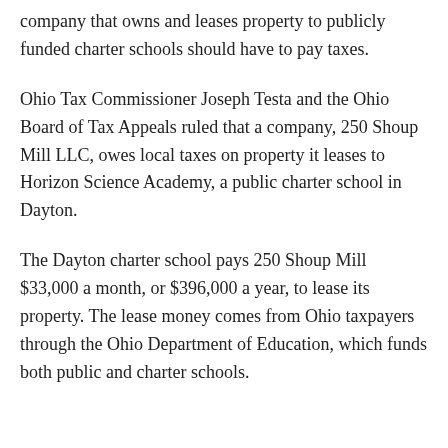company that owns and leases property to publicly funded charter schools should have to pay taxes.
Ohio Tax Commissioner Joseph Testa and the Ohio Board of Tax Appeals ruled that a company, 250 Shoup Mill LLC, owes local taxes on property it leases to Horizon Science Academy, a public charter school in Dayton.
The Dayton charter school pays 250 Shoup Mill $33,000 a month, or $396,000 a year, to lease its property. The lease money comes from Ohio taxpayers through the Ohio Department of Education, which funds both public and charter schools.